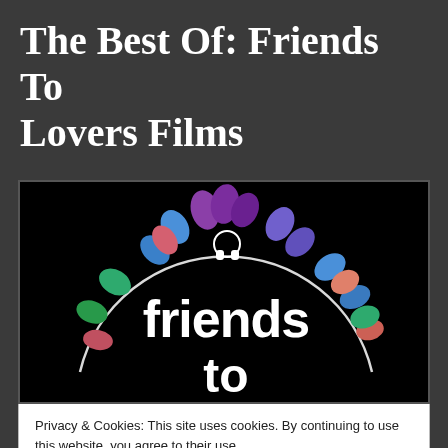The Best Of: Friends To Lovers Films
[Figure (logo): Friends To Lovers film logo on black background with colorful heart-shaped leaves arranged in a circular wreath and white text reading 'friends to' with a headphone icon at top]
Privacy & Cookies: This site uses cookies. By continuing to use this website, you agree to their use.
To find out more, including how to control cookies, see here: Cookie Policy
Close and accept